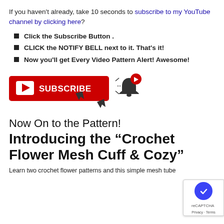If you haven't already, take 10 seconds to subscribe to my YouTube channel by clicking here?
Click the Subscribe Button .
CLICK the NOTIFY BELL next to it. That's it!
Now you'll get Every Video Pattern Alert! Awesome!
[Figure (illustration): YouTube Subscribe button (red) with play icon and SUBSCRIBE text, next to a bell notification icon with a red YouTube logo badge and a cursor arrow pointing at the subscribe button.]
Now On to the Pattern!
Introducing the “Crochet Flower Mesh Cuff & Cozy”
Learn two crochet flower patterns and this simple mesh tube